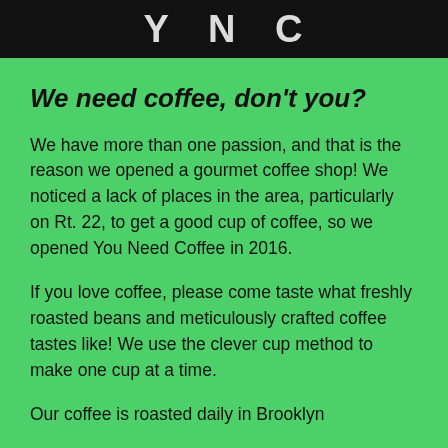Y N C
We need coffee, don't you?
We have more than one passion, and that is the reason we opened a gourmet coffee shop! We noticed a lack of places in the area, particularly on Rt. 22, to get a good cup of coffee, so we opened You Need Coffee in 2016.
If you love coffee, please come taste what freshly roasted beans and meticulously crafted coffee tastes like! We use the clever cup method to make one cup at a time.
Our coffee is roasted daily in Brooklyn